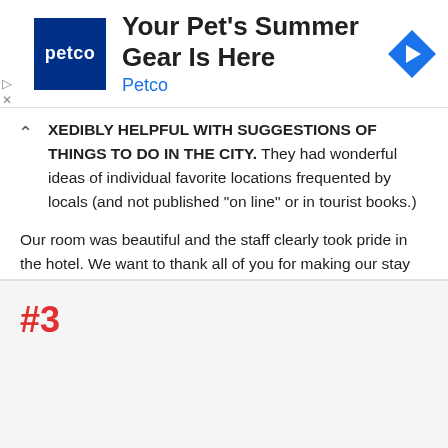[Figure (other): Petco advertisement banner with logo, title 'Your Pet's Summer Summer Gear Is Here', subtitle 'Petco', and a blue diamond navigation arrow icon]
XEDIBLY helpful with suggestions of things to do in the city. They had wonderful ideas of individual favorite locations frequented by locals (and not published "on line" or in tourist books.)
Our room was beautiful and the staff clearly took pride in the hotel. We want to thank all of you for making our stay so special and we highly recommend the hotel to anyone who is new to Stockholm.
Review by AmyRP4
Source: www.tripadvisor.com
#3